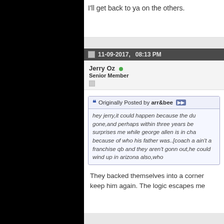I'll get back to ya on the others.
11-09-2017,   08:13 PM
Jerry Oz
Senior Member
Originally Posted by arr&bee
hey jerry,it could happen because the du gone,and perhaps within three years be surprises me while george allen is in cha because of who his father was..[coach a ain't a franchise qb and they aren't gonn out,he could wind up in arizona also,who
They backed themselves into a corner keep him again. The logic escapes me